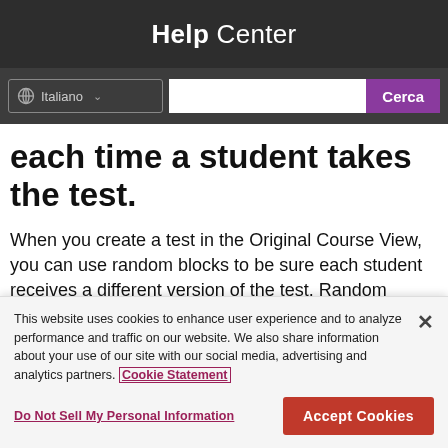Help Center
each time a student takes the test.
When you create a test in the Original Course View, you can use random blocks to be sure each student receives a different version of the test. Random blocks draw questions from pools only, so
This website uses cookies to enhance user experience and to analyze performance and traffic on our website. We also share information about your use of our site with our social media, advertising and analytics partners. Cookie Statement
Do Not Sell My Personal Information
Accept Cookies